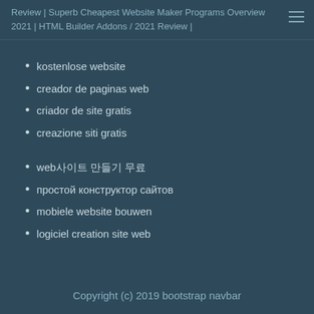Review | Superb Cheapest Website Maker Programs Overview 2021 | HTML Builder Addons / 2021 Review |
kostenlose website
creador de paginas web
criador de site gratis
creazione siti gratis
web사이트 만들기 무료
простой конструктор сайтов
mobiele website bouwen
logiciel creation site web
Copyright (c) 2019 bootstrap navbar